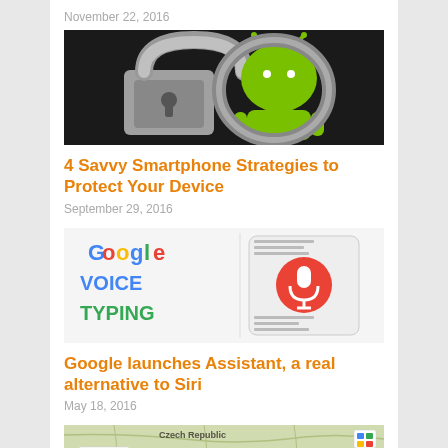November 22, 2016
[Figure (photo): Android robot figure locked with a padlock on dark background]
4 Savvy Smartphone Strategies to Protect Your Device
September 29, 2016
[Figure (screenshot): Google Voice Typing logo with microphone icon on smartphone]
Google launches Assistant, a real alternative to Siri
May 18, 2016
[Figure (screenshot): Map showing Czech Republic with Nexus 5 device label]